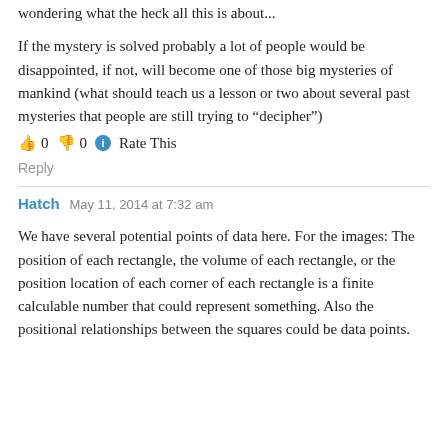wondering what the heck all this is about...
If the mystery is solved probably a lot of people would be disappointed, if not, will become one of those big mysteries of mankind (what should teach us a lesson or two about several past mysteries that people are still trying to “decipher”)
👍 0 👎 0 ℹ Rate This
Reply
Hatch  May 11, 2014 at 7:32 am
We have several potential points of data here. For the images: The position of each rectangle, the volume of each rectangle, or the position location of each corner of each rectangle is a finite calculable number that could represent something. Also the positional relationships between the squares could be data points.